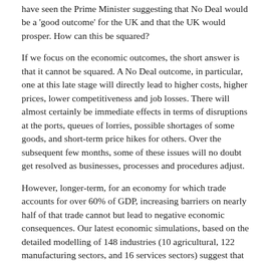have seen the Prime Minister suggesting that No Deal would be a 'good outcome' for the UK and that the UK would prosper. How can this be squared?
If we focus on the economic outcomes, the short answer is that it cannot be squared. A No Deal outcome, in particular, one at this late stage will directly lead to higher costs, higher prices, lower competitiveness and job losses. There will almost certainly be immediate effects in terms of disruptions at the ports, queues of lorries, possible shortages of some goods, and short-term price hikes for others. Over the subsequent few months, some of these issues will no doubt get resolved as businesses, processes and procedures adjust.
However, longer-term, for an economy for which trade accounts for over 60% of GDP, increasing barriers on nearly half of that trade cannot but lead to negative economic consequences. Our latest economic simulations, based on the detailed modelling of 148 industries (10 agricultural, 122 manufacturing sectors, and 16 services sectors) suggest that